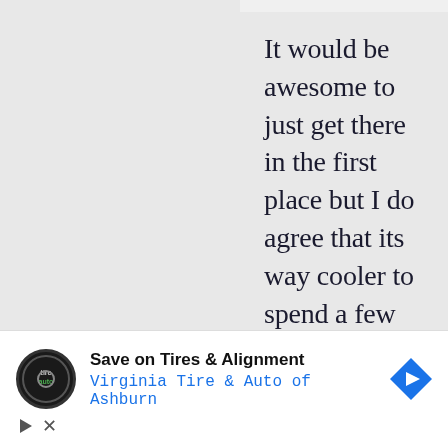It would be awesome to just get there in the first place but I do agree that its way cooler to spend a few days there doing something pretty unique...a marathon at the North Pole definitely qualifies. Best of luck at it, I'm not a runner myself but managed to crawl across the line at a Berlin marathon a few years ago, but that wouldn't compare to a NP one 🙂
[Figure (other): Advertisement banner for Virginia Tire & Auto of Ashburn showing logo, headline 'Save on Tires & Alignment', blue directional arrow icon, and ad controls (play and close buttons)]